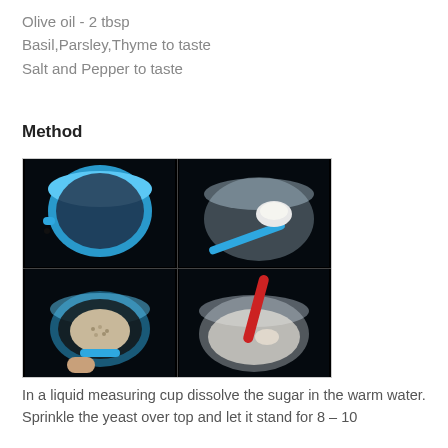Olive oil - 2 tbsp
Basil,Parsley,Thyme to taste
Salt and Pepper to taste
Method
[Figure (photo): Four-panel photo showing measuring cups and spoons with ingredients: top-left shows an empty blue measuring cup, top-right shows a clear measuring cup with a blue spoon and white granules (sugar), bottom-left shows a blue measuring spoon with yeast granules, bottom-right shows a clear measuring cup with a red spoon stirring a milky liquid (dissolved yeast mixture).]
In a liquid measuring cup dissolve the sugar in the warm water. Sprinkle the yeast over top and let it stand for 8 – 10